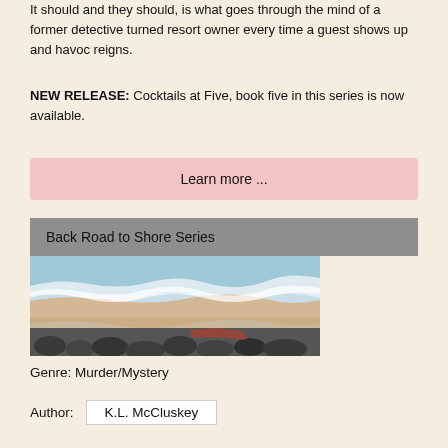It should and they should, is what goes through the mind of a former detective turned resort owner every time a guest shows up and havoc reigns.
NEW RELEASE: Cocktails at Five, book five in this series is now available.
Learn more ...
Back Road to Shore Series
[Figure (illustration): A coastal scene painting showing ocean waves, sandy shore, and dark rounded stones in the foreground with reddish tones]
Genre: Murder/Mystery
Author:  K.L. McCluskey